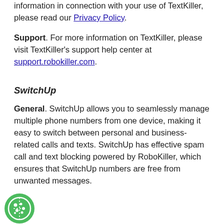information in connection with your use of TextKiller, please read our Privacy Policy.
Support. For more information on TextKiller, please visit TextKiller’s support help center at support.robokiller.com.
SwitchUp
General. SwitchUp allows you to seamlessly manage multiple phone numbers from one device, making it easy to switch between personal and business-related calls and texts. SwitchUp has effective spam call and text blocking powered by RoboKiller, which ensures that SwitchUp numbers are free from unwanted messages.